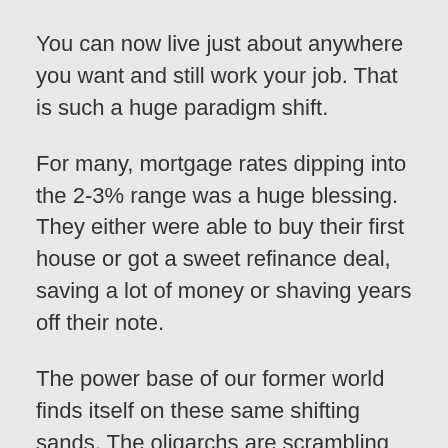You can now live just about anywhere you want and still work your job. That is such a huge paradigm shift.
For many, mortgage rates dipping into the 2-3% range was a huge blessing. They either were able to buy their first house or got a sweet refinance deal, saving a lot of money or shaving years off their note.
The power base of our former world finds itself on these same shifting sands. The oligarchs are scrambling too.
We are seeing a shift in the financial world with